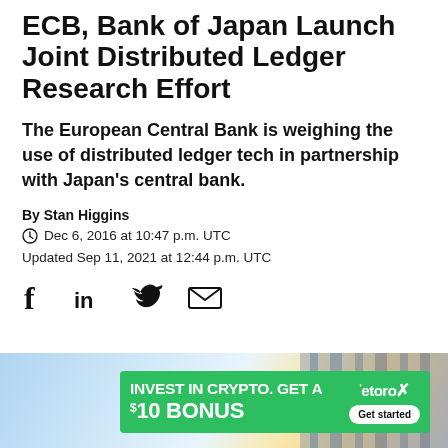ECB, Bank of Japan Launch Joint Distributed Ledger Research Effort
The European Central Bank is weighing the use of distributed ledger tech in partnership with Japan's central bank.
By Stan Higgins
Dec 6, 2016 at 10:47 p.m. UTC
Updated Sep 11, 2021 at 12:44 p.m. UTC
[Figure (infographic): Social sharing icons: Facebook, LinkedIn, Twitter, Email]
[Figure (infographic): Advertisement banner: green background with text 'INVEST IN CRYPTO. GET A $10 BONUS' and eToro logo with 'Get started' button, overlaid on a photo of buildings]